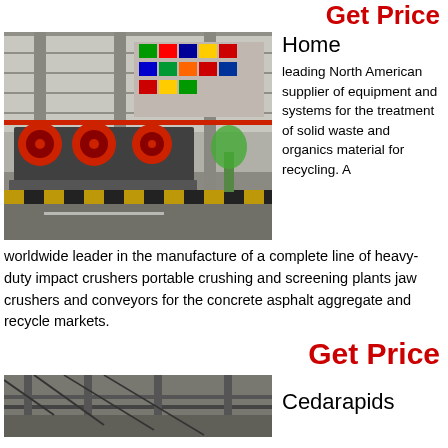Get Price
[Figure (photo): Industrial crushing/screening equipment with red circular wheels on display in a large exhibition hall with international flags in the background and yellow-black safety barrier in front.]
Home
leading North American supplier of equipment and systems for the treatment of solid waste and organics material for recycling. A worldwide leader in the manufacture of a complete line of heavy-duty impact crushers portable crushing and screening plants jaw crushers and conveyors for the concrete asphalt aggregate and recycle markets.
Get Price
[Figure (photo): Partial view of industrial machinery or equipment, cropped at bottom of page.]
Cedarapids